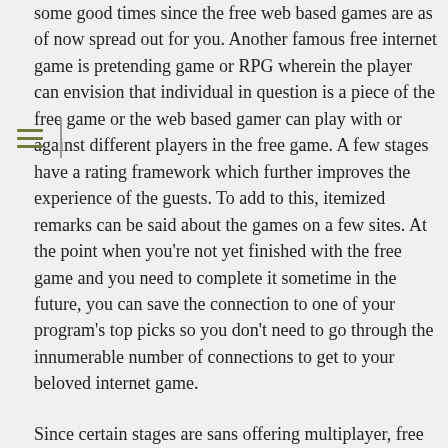some good times since the free web based games are as of now spread out for you. Another famous free internet game is pretending game or RPG wherein the player can envision that individual in question is a piece of the free game or the web based gamer can play with or against different players in the free game. A few stages have a rating framework which further improves the experience of the guests. To add to this, itemized remarks can be said about the games on a few sites. At the point when you're not yet finished with the free game and you need to complete it sometime in the future, you can save the connection to one of your program's top picks so you don't need to go through the innumerable number of connections to get to your beloved internet game.
Since certain stages are sans offering multiplayer, free chatrooms have been made all together for the gamers to discuss the game they have played or a recently delivered game. A chatroom is like a party of free web based games. Some even